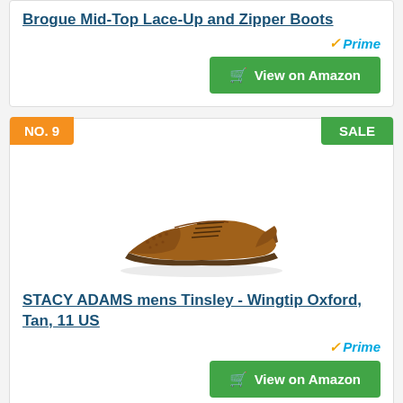Brogue Mid-Top Lace-Up and Zipper Boots
[Figure (other): Amazon Prime badge]
View on Amazon
NO. 9
SALE
[Figure (photo): Brown leather wingtip oxford shoe (STACY ADAMS mens Tinsley)]
STACY ADAMS mens Tinsley - Wingtip Oxford, Tan, 11 US
[Figure (other): Amazon Prime badge]
View on Amazon
Important notes when buying ferro aldo 3